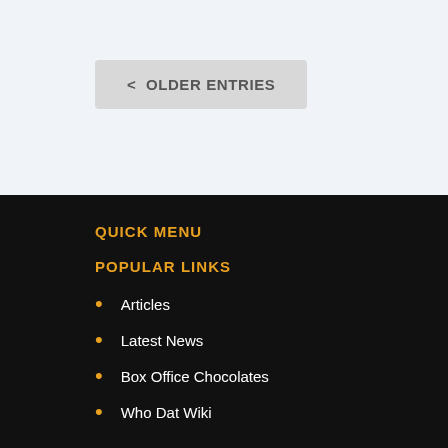< OLDER ENTRIES
QUICK MENU
POPULAR LINKS
Articles
Latest News
Box Office Chocolates
Who Dat Wiki